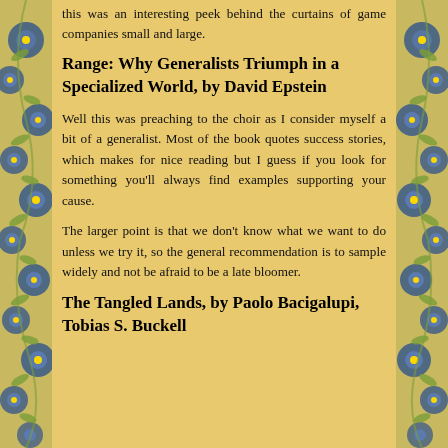this was an interesting peek behind the curtains of game companies small and large.
Range: Why Generalists Triumph in a Specialized World, by David Epstein
Well this was preaching to the choir as I consider myself a bit of a generalist. Most of the book quotes success stories, which makes for nice reading but I guess if you look for something you'll always find examples supporting your cause.
The larger point is that we don't know what we want to do unless we try it, so the general recommendation is to sample widely and not be afraid to be a late bloomer.
The Tangled Lands, by Paolo Bacigalupi, Tobias S. Buckell